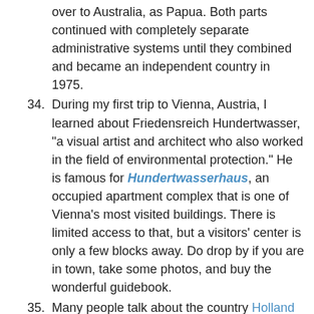over to Australia, as Papua. Both parts continued with completely separate administrative systems until they combined and became an independent country in 1975.
34. During my first trip to Vienna, Austria, I learned about Friedensreich Hundertwasser, "a visual artist and architect who also worked in the field of environmental protection." He is famous for Hundertwasserhaus, an occupied apartment complex that is one of Vienna's most visited buildings. There is limited access to that, but a visitors' center is only a few blocks away. Do drop by if you are in town, take some photos, and buy the wonderful guidebook.
35. Many people talk about the country Holland when they really mean the Netherlands. And more than a few Dutch people are sensitive to the difference. In reality, Holland refers to the two Dutch provinces North Holland and South Holland, the former containing